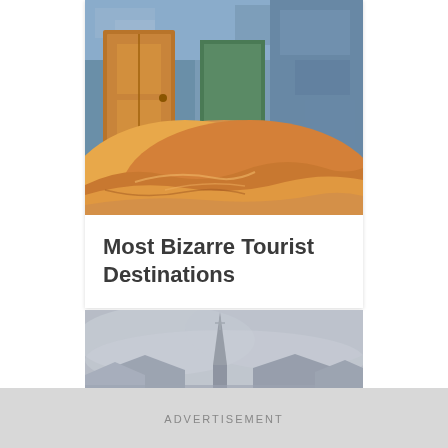[Figure (photo): Interior of an abandoned building filled with orange sand dunes, with weathered blue walls, wooden doors, and sand piled high inside the rooms]
Most Bizarre Tourist Destinations
[Figure (photo): Misty foggy scene of a church steeple and rooftops in a grey overcast sky, possibly a ghost town]
ADVERTISEMENT